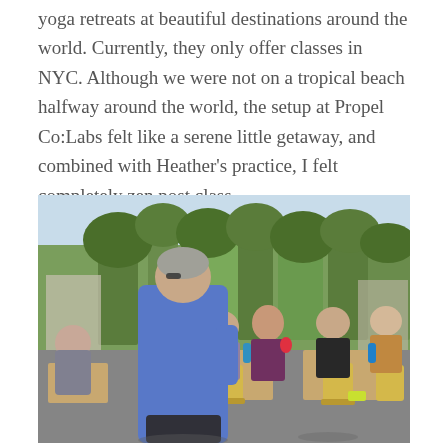yoga retreats at beautiful destinations around the world. Currently, they only offer classes in NYC. Although we were not on a tropical beach halfway around the world, the setup at Propel Co:Labs felt like a serene little getaway, and combined with Heather's practice, I felt completely zen post class.
[Figure (photo): Outdoor group gathering at a rooftop or patio area. A man in a blue shirt stands with his back to the camera facing a group of women seated at wooden tables with yellow chairs. Trees and a sunny sky are visible in the background. Colorful water bottles and flowers decorate the tables.]